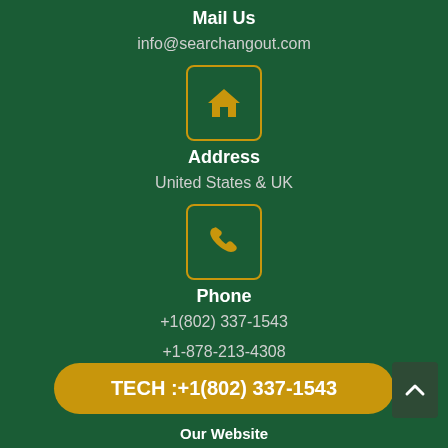Mail Us
info@searchangout.com
[Figure (illustration): Gold house icon inside a gold-bordered rounded square box]
Address
United States & UK
[Figure (illustration): Gold phone handset icon inside a gold-bordered rounded square box]
Phone
+1(802) 337-1543
+1-878-213-4308
TECH :+1(802) 337-1543
Our Website